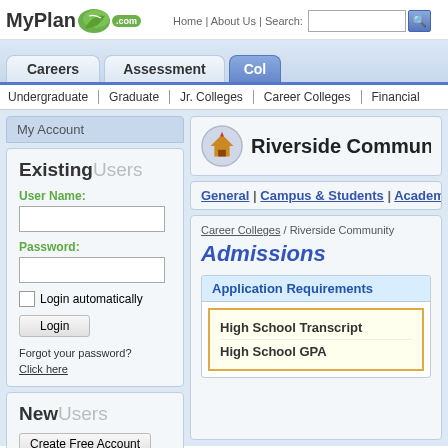[Figure (screenshot): MyPlan.com website header with logo showing 'MyPlan.com' with green leaf, navigation links Home | About Us | Search, search input box and button, and tab navigation for Careers, Assessment, Col(leges)]
Home | About Us | Search:
Undergraduate | Graduate | Jr. Colleges | Career Colleges | Financial
My Account
ExistingUsers
User Name:
Password:
Login automatically
Login
Forgot your password?
Click here
NewUsers
Create Free Account
Riverside Community C
General | Campus & Students | Academi
Career Colleges / Riverside Community
Admissions
Application Requirements
High School Transcript
High School GPA